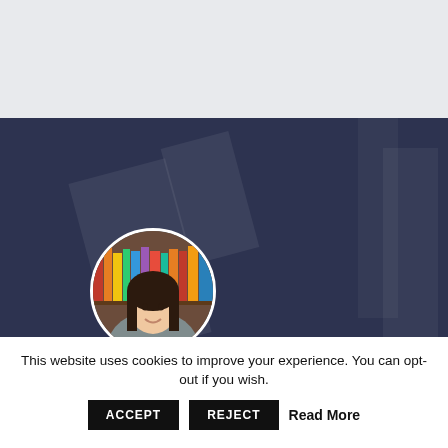[Figure (photo): Dark navy background banner with decorative geometric shapes, a circular profile photo of a woman with dark hair in front of a bookshelf, an orange vertical bar on the left, text 'OLÁ!' in white spaced letters, and large bold white text 'Meet your' partially visible at bottom.]
This website uses cookies to improve your experience. You can opt-out if you wish.
ACCEPT
REJECT
Read More